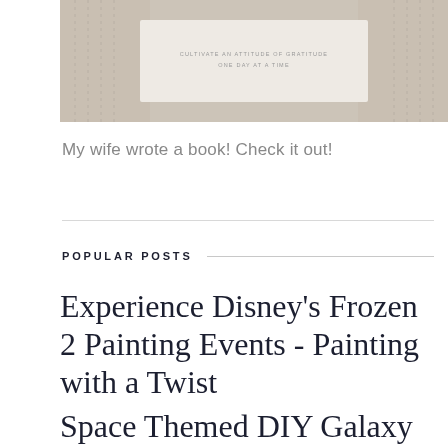[Figure (photo): Hands holding a book or card with small uppercase text reading 'CULTIVATE AN ATTITUDE OF GRATITUDE ONE DAY AT A TIME']
My wife wrote a book! Check it out!
POPULAR POSTS
Experience Disney's Frozen 2 Painting Events - Painting with a Twist
Space Themed DIY Galaxy Playdough for Kids